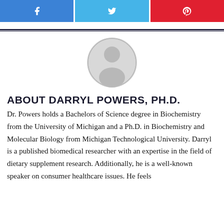[Figure (other): Social media share buttons: Facebook (blue), Twitter (light blue), Pinterest (red) with icons]
[Figure (photo): Generic user avatar placeholder — circular frame with grey silhouette of a person on light grey background]
ABOUT DARRYL POWERS, PH.D.
Dr. Powers holds a Bachelors of Science degree in Biochemistry from the University of Michigan and a Ph.D. in Biochemistry and Molecular Biology from Michigan Technological University. Darryl is a published biomedical researcher with an expertise in the field of dietary supplement research. Additionally, he is a well-known speaker on consumer healthcare issues. He feels